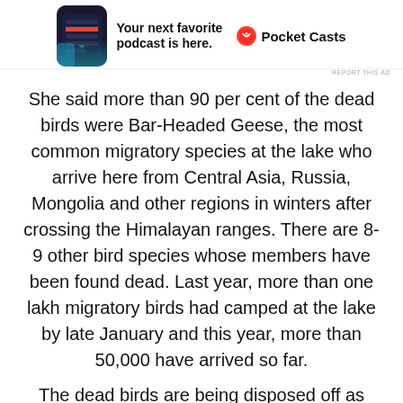[Figure (other): Pocket Casts advertisement banner showing a smartphone app screenshot with dark theme on the left, bold text 'Your next favorite podcast is here.' in the center, and the Pocket Casts logo (circular icon with headphone symbol) and brand name on the right.]
REPORT THIS AD
She said more than 90 per cent of the dead birds were Bar-Headed Geese, the most common migratory species at the lake who arrive here from Central Asia, Russia, Mongolia and other regions in winters after crossing the Himalayan ranges. There are 8-9 other bird species whose members have been found dead. Last year, more than one lakh migratory birds had camped at the lake by late January and this year, more than 50,000 have arrived so far.
The dead birds are being disposed off as per bird-flu protocol, officials said, adding that no such deaths have been reported so far from other water bodies in the state.